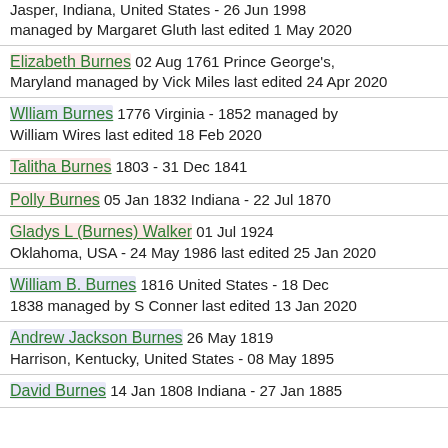Jasper, Indiana, United States - 26 Jun 1998 managed by Margaret Gluth last edited 1 May 2020
Elizabeth Burnes 02 Aug 1761 Prince George's, Maryland managed by Vick Miles last edited 24 Apr 2020
Wlliam Burnes 1776 Virginia - 1852 managed by William Wires last edited 18 Feb 2020
Talitha Burnes 1803 - 31 Dec 1841
Polly Burnes 05 Jan 1832 Indiana - 22 Jul 1870
Gladys L (Burnes) Walker 01 Jul 1924 Oklahoma, USA - 24 May 1986 last edited 25 Jan 2020
William B. Burnes 1816 United States - 18 Dec 1838 managed by S Conner last edited 13 Jan 2020
Andrew Jackson Burnes 26 May 1819 Harrison, Kentucky, United States - 08 May 1895
David Burnes 14 Jan 1808 Indiana - 27 Jan 1885